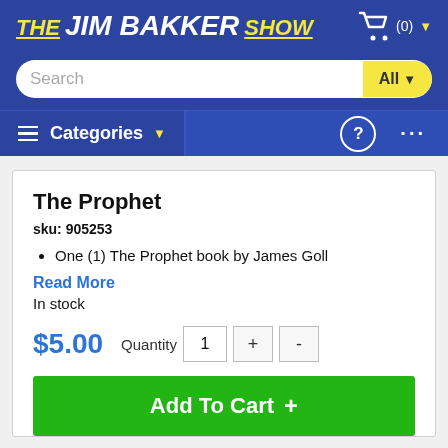[Figure (logo): The Jim Bakker Show logo in yellow and white italic bold text on blue background, with a shopping cart icon and (0) count]
[Figure (screenshot): Search bar with placeholder text 'Search' and yellow 'All' dropdown button]
[Figure (screenshot): Navigation bar with hamburger menu, Categories dropdown, help icon, and more options (...)]
The Prophet
sku: 905253
One (1) The Prophet book by James Goll
Read More
In stock
$5.00
Quantity 1 + -
Add To Cart +